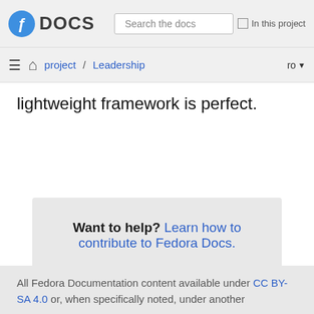Fedora DOCS | Search the docs | In this project
project / Leadership | ro
lightweight framework is perfect.
Want to help? Learn how to contribute to Fedora Docs.
All Fedora Documentation content available under CC BY-SA 4.0 or, when specifically noted, under another